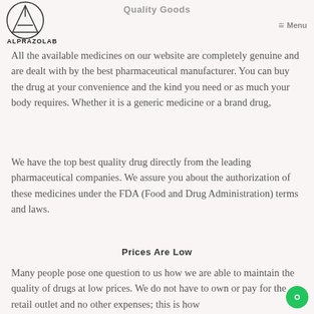[Figure (logo): Alprazolab logo: circular emblem with geometric A shape inside, with text ALPRAZOLAB below]
Quality Goods
≡ Menu
All the available medicines on our website are completely genuine and are dealt with by the best pharmaceutical manufacturer. You can buy the drug at your convenience and the kind you need or as much your body requires. Whether it is a generic medicine or a brand drug,
We have the top best quality drug directly from the leading pharmaceutical companies. We assure you about the authorization of these medicines under the FDA (Food and Drug Administration) terms and laws.
Prices Are Low
Many people pose one question to us how we are able to maintain the quality of drugs at low prices. We do not have to own or pay for the retail outlet and no other expenses; this is how